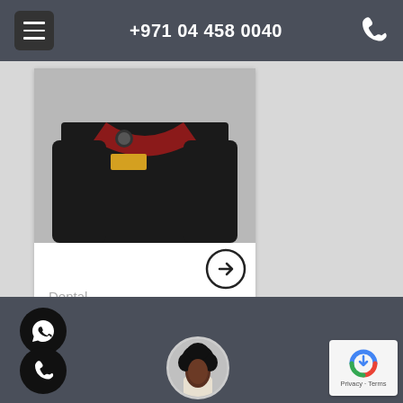+971 04 458 0040
[Figure (photo): Doctor in black uniform coat with clinic badge, partial torso view]
Dental
Dr MAI AHMED
[Figure (photo): Circular avatar photo of a person with natural curly hair]
[Figure (other): reCAPTCHA badge with Privacy and Terms text]
WhatsApp and phone call buttons in footer bar